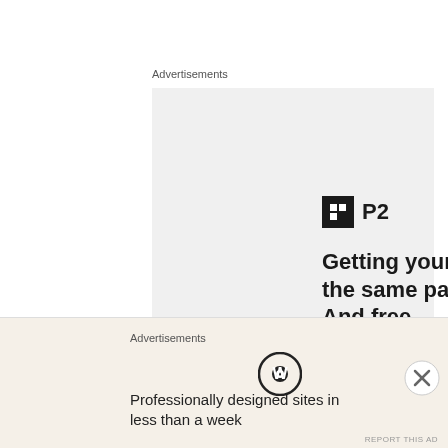Advertisements
[Figure (infographic): P2 advertisement with logo, headline 'Getting your team on the same page is easy. And free.' and three user avatars plus a blue plus button]
REPORT THIS AD
Categories:
MY MUSINGS
THIS AND THAT
Advertisements
[Figure (infographic): WordPress advertisement: 'Professionally designed sites in less than a week' with WordPress logo]
REPORT THIS AD